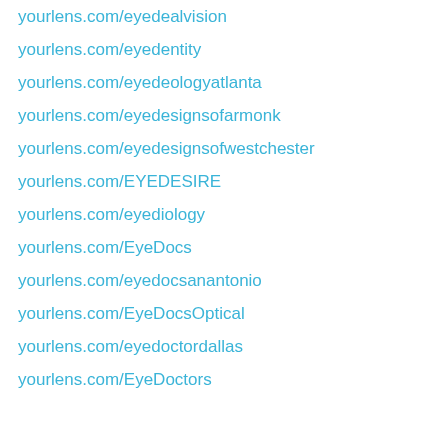yourlens.com/eyedealvision
yourlens.com/eyedentity
yourlens.com/eyedeologyatlanta
yourlens.com/eyedesignsofarmonk
yourlens.com/eyedesignsofwestchester
yourlens.com/EYEDESIRE
yourlens.com/eyediology
yourlens.com/EyeDocs
yourlens.com/eyedocsanantonio
yourlens.com/EyeDocsOptical
yourlens.com/eyedoctordallas
yourlens.com/EyeDoctors